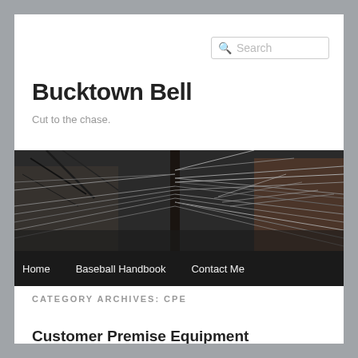Search
Bucktown Bell
Cut to the chase.
[Figure (photo): Dark photograph of tangled utility wires and cables on a pole in front of a brick building in winter, with bare trees visible]
Home   Baseball Handbook   Contact Me
CATEGORY ARCHIVES: CPE
Customer Premise Equipment